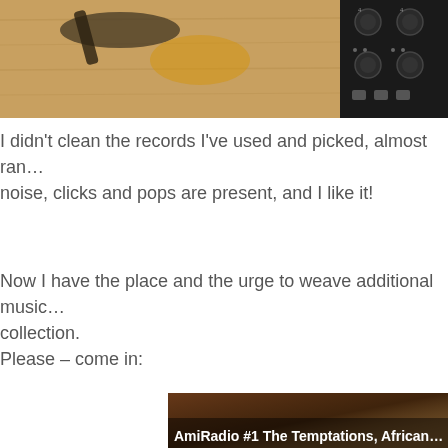[Figure (photo): Top portion of a photo showing a record/turntable on a wooden surface on the left side, and audio equipment with knobs and connectors on the right side.]
I didn't clean the records I've used and picked, almost ran… noise, clicks and pops are present, and I like it!
Now I have the place and the urge to weave additional music… collection.
Please – come in:
[Figure (photo): Bottom image showing a dark warm-toned photo with bold white text overlay reading 'AmiRadio #1 The Temptations, African…']